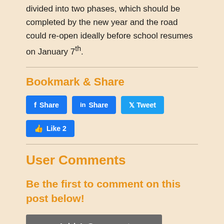divided into two phases, which should be completed by the new year and the road could re-open ideally before school resumes on January 7th.
Bookmark & Share
[Figure (other): Social media share buttons: Facebook Share, LinkedIn Share, Twitter Tweet, and Facebook Like 2 button]
User Comments
Be the first to comment on this post below!
[Figure (other): Add A Comment button in dark gray]